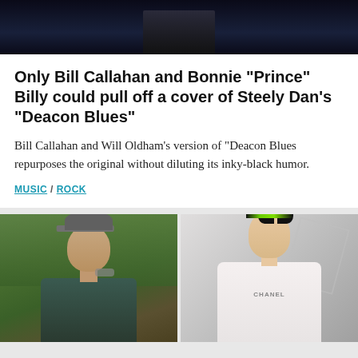[Figure (photo): Dark photo partially visible at top of page, appears to be a performance or musical scene]
Only Bill Callahan and Bonnie “Prince” Billy could pull off a cover of Steely Dan’s “Deacon Blues”
Bill Callahan and Will Oldham's version of "Deacon Blues repurposes the original without diluting its inky-black humor.
MUSIC / ROCK
[Figure (photo): Two photos side by side: left shows a man in a grey cap and dark shirt outdoors with green foliage background; right shows a young woman with green and black hair wearing a white Chanel outfit]